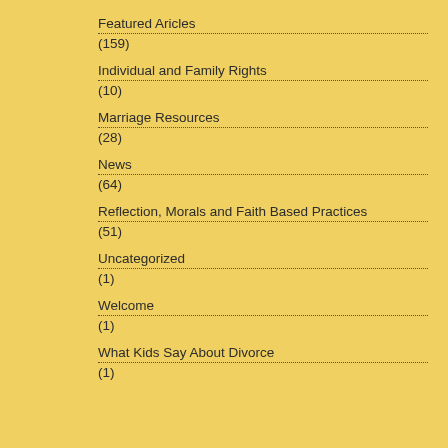Featured Aricles
(159)
Individual and Family Rights
(10)
Marriage Resources
(28)
News
(64)
Reflection, Morals and Faith Based Practices
(51)
Uncategorized
(1)
Welcome
(1)
What Kids Say About Divorce
(1)